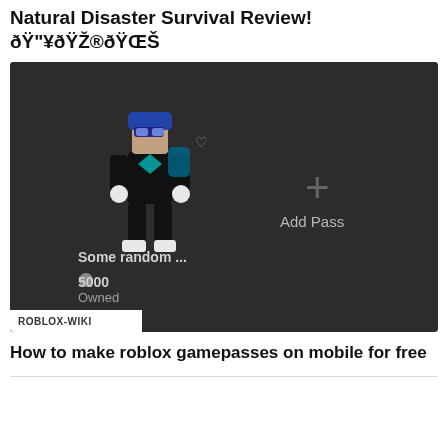Natural Disaster Survival Review! 🔥🎮🌊
[Figure (screenshot): Roblox game pass screen showing a character in dark outfit with blue hair, 'Some random ... 5000 Owned' text on left and 'Add Pass' with a plus sign on the right. Dark background. ROBLOX-WIKI badge at bottom left.]
How to make roblox gamepasses on mobile for free